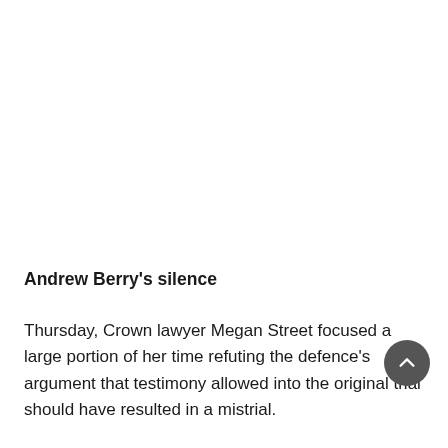Andrew Berry's silence
Thursday, Crown lawyer Megan Street focused a large portion of her time refuting the defence's argument that testimony allowed into the original trial should have resulted in a mistrial.